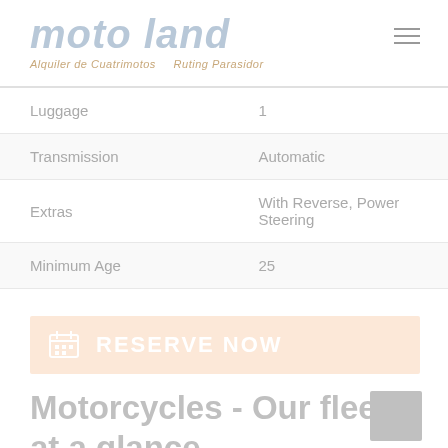moto land
| Specification | Value |
| --- | --- |
| Luggage | 1 |
| Transmission | Automatic |
| Extras | With Reverse, Power Steering |
| Minimum Age | 25 |
RESERVE NOW
Motorcycles - Our fleet at a glance